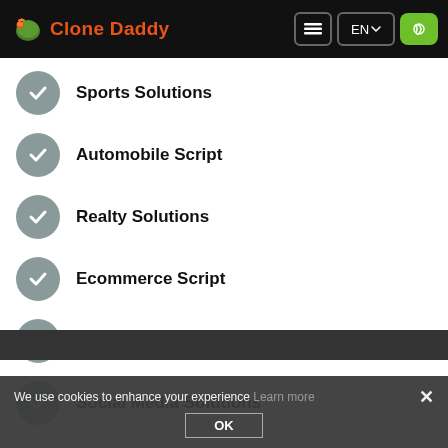Clone Daddy — EN navigation header
Sports Solutions
Automobile Script
Realty Solutions
Ecommerce Script
Marketplace Solutions
Social Media Solutions
We use cookies to enhance your experience Learn more OK